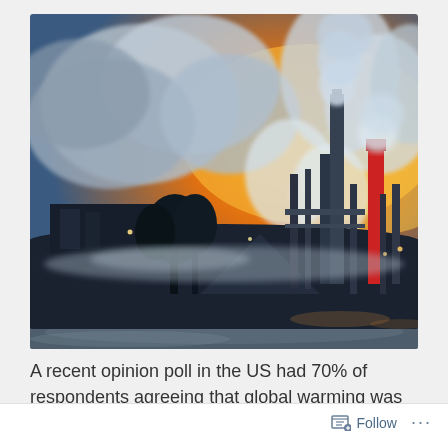[Figure (photo): Industrial factory scene at dusk with large smokestacks emitting heavy smoke and steam, ships in the foreground on water, orange and yellow sky with dramatic clouds, a red chimney visible on the right]
A recent opinion poll in the US had 70% of respondents agreeing that global warming was happening.
Follow ...